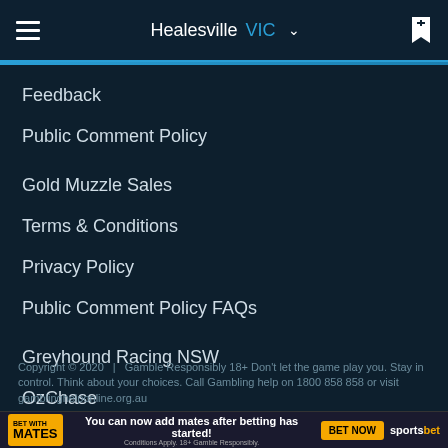Healesville VIC
Feedback
Public Comment Policy
Gold Muzzle Sales
Terms & Conditions
Privacy Policy
Public Comment Policy FAQs
Greyhound Racing NSW
OzChase
GWIC
Greyhounds as Pets
Copyright © 2020 | Gamble Responsibly 18+ Don't let the game play you. Stay in control. Think about your choices. Call Gambling help on 1800 858 858 or visit gamblinghelponline.org.au